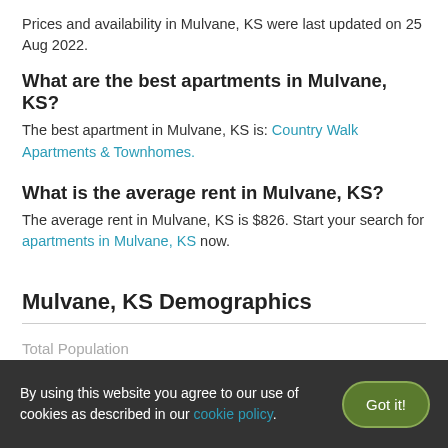Prices and availability in Mulvane, KS were last updated on 25 Aug 2022.
What are the best apartments in Mulvane, KS?
The best apartment in Mulvane, KS is: Country Walk Apartments & Townhomes.
What is the average rent in Mulvane, KS?
The average rent in Mulvane, KS is $826. Start your search for apartments in Mulvane, KS now.
Mulvane, KS Demographics
Total Population
By using this website you agree to our use of cookies as described in our cookie policy.